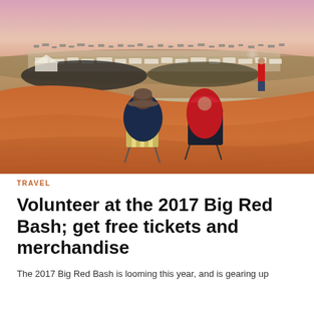[Figure (photo): Aerial/elevated view of a large outdoor festival/concert in an arid desert landscape with red sand dunes. Two people sitting in folding chairs in the foreground on a red sand dune, one wearing a dark hat and blue jacket, the other in a red hoodie. A person in red stands to the right. In the background, a massive crowd and hundreds of vehicles and caravans are spread across the flat desert plain. The sky shows a soft pink/purple sunset gradient.]
TRAVEL
Volunteer at the 2017 Big Red Bash; get free tickets and merchandise
The 2017 Big Red Bash is looming this year, and is gearing up